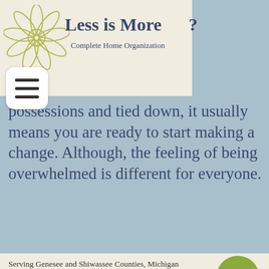[Figure (logo): Less is More Complete Home Organization logo with daisy flower outline and brand name]
possessions and tied down, it usually means you are ready to start making a change. Although, the feeling of being overwhelmed is different for everyone.
Serving Genesee and Shiwassee Counties, Michigan
Copyright Less is More Complete Home Organization, LLC